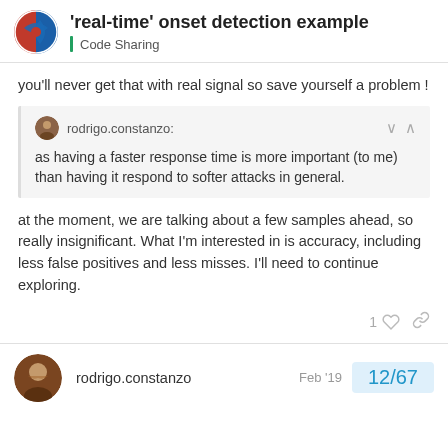'real-time' onset detection example — Code Sharing
you'll never get that with real signal so save yourself a problem !
rodrigo.constanzo: as having a faster response time is more important (to me) than having it respond to softer attacks in general.
at the moment, we are talking about a few samples ahead, so really insignificant. What I'm interested in is accuracy, including less false positives and less misses. I'll need to continue exploring.
rodrigo.constanzo  Feb '19  12/67